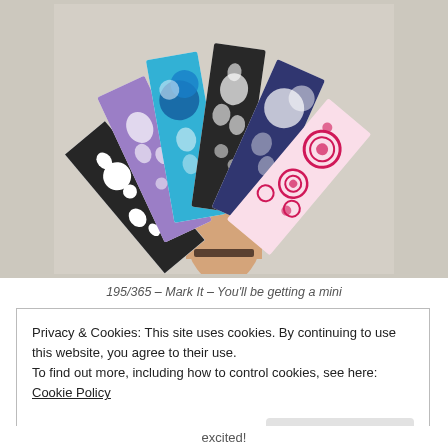[Figure (photo): A hand holding five colorful bookmarks fanned out: black/white floral, purple, teal/blue, black, navy blue, and pink rose pattern bookmarks against a beige wall background.]
195/365 – Mark It – You'll be getting a mini
Privacy & Cookies: This site uses cookies. By continuing to use this website, you agree to their use.
To find out more, including how to control cookies, see here: Cookie Policy
Close and accept
excited!